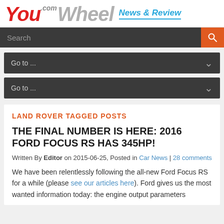YouWheel.com News & Review
Search
Go to ...
Go to ...
LAND ROVER TAGGED POSTS
THE FINAL NUMBER IS HERE: 2016 FORD FOCUS RS HAS 345HP!
Written By Editor on 2015-06-25, Posted in Car News | 28 comments
We have been relentlessly following the all-new Ford Focus RS for a while (please see our articles here). Ford gives us the most wanted information today: the engine output parameters